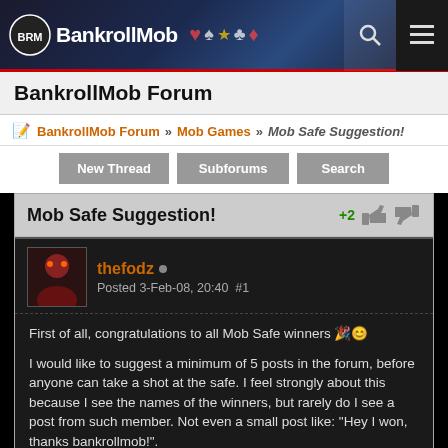BankrollMob
BankrollMob Forum
BankrollMob Forum » Mob Games » Mob Safe Suggestion!
New Thread
Subforums
Search
Mob Safe Suggestion!
thefodz  Posted 3-Feb-08, 20:40  #1
First of all, congratulations to all Mob Safe winners

I would like to suggest a minimum of 5 posts in the forum, before anyone can take a shot at the safe. I feel strongly about this because I see the names of the winners, but rarely do I see a post from such member. Not even a small post like: "Hey I won, thanks bankrollmob!".

This of course is not about all the past winners, but most of them I have never even heard of.

So I guess this would increase our Forum activity and of course